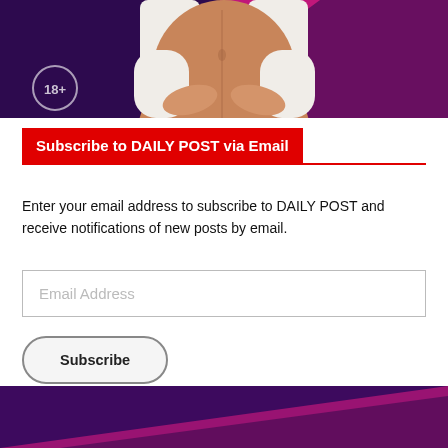[Figure (photo): Pregnant woman in white clothing holding her belly, with purple and pink background. A circle with '18+' text is visible in the lower left corner of the image.]
Subscribe to DAILY POST via Email
Enter your email address to subscribe to DAILY POST and receive notifications of new posts by email.
Email Address
Subscribe
[Figure (photo): Bottom portion showing purple and magenta/pink gradient background, partial view of another image.]